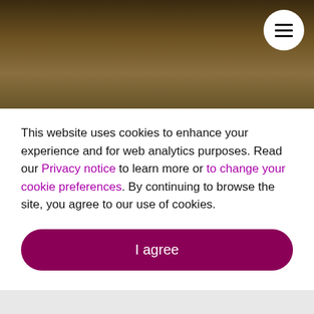[Figure (screenshot): Dark brown blurred background image header with a white circular menu button (hamburger icon with three horizontal lines) in the top-right corner]
This website uses cookies to enhance your experience and for web analytics purposes. Read our Privacy notice to learn more or to change your cookie preferences. By continuing to browse the site, you agree to our use of cookies.
I agree
TABLE OF CONTENTS
Challenge  Solution  Results